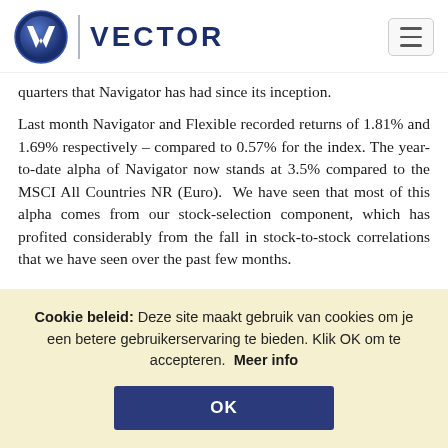VECTOR
quarters that Navigator has had since its inception.
Last month Navigator and Flexible recorded returns of 1.81% and 1.69% respectively – compared to 0.57% for the index. The year-to-date alpha of Navigator now stands at 3.5% compared to the MSCI All Countries NR (Euro). We have seen that most of this alpha comes from our stock-selection component, which has profited considerably from the fall in stock-to-stock correlations that we have seen over the past few months.
Cookie beleid: Deze site maakt gebruik van cookies om je een betere gebruikerservaring te bieden. Klik OK om te accepteren. Meer info